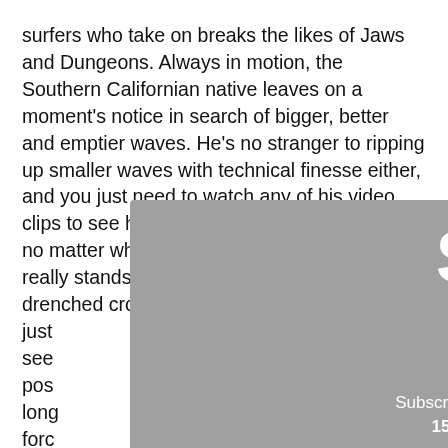surfers who take on breaks the likes of Jaws and Dungeons. Always in motion, the Southern Californian native leaves on a moment's notice in search of bigger, better and emptier waves. He's no stranger to ripping up smaller waves with technical finesse either, and you just need to watch any of his video clips to see how much fun he has in the water, no matter what the conditions. But where Alex really stands apart from the sun and salt drenched crowd is as a human being. There is just can see pos a long ism forc it life. the tabl : pos is drop is teac Kell his
[Figure (other): A modal/popup overlay with gray background showing 'SAVE 15%' in large white bold text, with subtitle 'Subscribe to our newsletter and save 15% on your first purchase!' in white text, and a circular close button (X) in the upper right corner.]